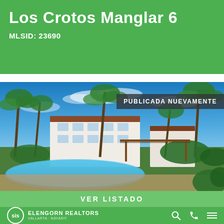Los Crotos Manglar 6
MLSID: 23690
[Figure (photo): Exterior photo of a tropical resort-style condo complex with palm trees, a pool in the foreground, a pergola, and a white multi-story building under a bright blue sky. Badge overlay reads 'PUBLICADA NUEVAMENTE'.]
VER LISTADO
ELENGORN REALTORS VALLARTA · NAYARIT